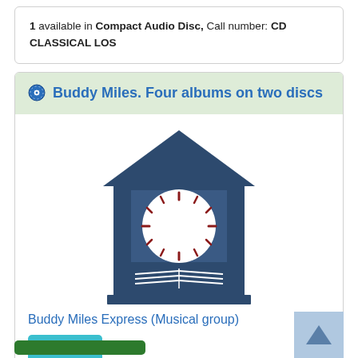1 available in Compact Audio Disc, Call number: CD CLASSICAL LOS
Buddy Miles. Four albums on two discs
[Figure (logo): Library logo illustration: a dark blue building with columns, a roof/pediment, a clock face in the center with red tick marks, and an open book at the base.]
Buddy Miles Express (Musical group)
Details